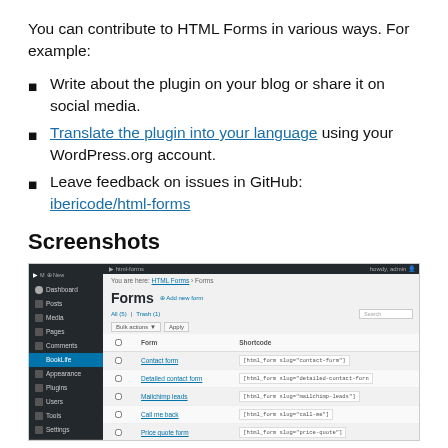You can contribute to HTML Forms in various ways. For example:
Write about the plugin on your blog or share it on social media.
Translate the plugin into your language using your WordPress.org account.
Leave feedback on issues in GitHub: ibericode/html-forms
Screenshots
[Figure (screenshot): WordPress admin panel showing HTML Forms plugin - Forms list page with entries: Contact form, Detailed contact form, Mailchimp leads, Call me back, Price quote form, each with shortcode snippets.]